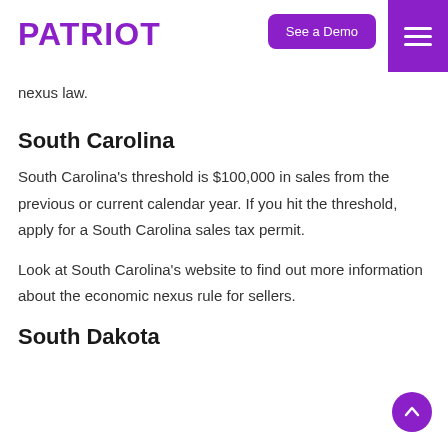PATRIOT
nexus law.
South Carolina
South Carolina's threshold is $100,000 in sales from the previous or current calendar year. If you hit the threshold, apply for a South Carolina sales tax permit.
Look at South Carolina's website to find out more information about the economic nexus rule for sellers.
South Dakota